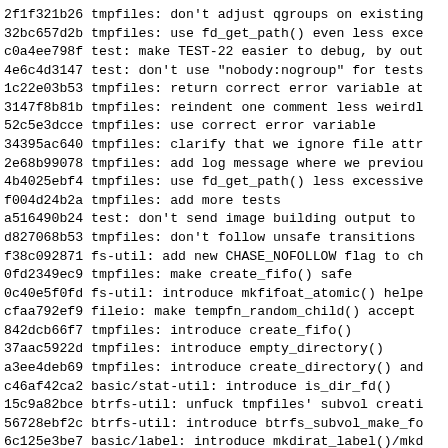2f1f321b26 tmpfiles: don't adjust qgroups on existing
32bc657d2b tmpfiles: use fd_get_path() even less exce
c0a4ee798f test: make TEST-22 easier to debug, by out
4e6c4d3147 test: don't use "nobody:nogroup" for tests
1c22e03b53 tmpfiles: return correct error variable at
3147f8b81b tmpfiles: reindent one comment less weirdl
52c5e3dcce tmpfiles: use correct error variable
34395ac640 tmpfiles: clarify that we ignore file attr
2e68b99078 tmpfiles: add log message where we previou
4b4025ebf4 tmpfiles: use fd_get_path() less excessive
f004d24b2a tmpfiles: add more tests
a516490b24 test: don't send image building output to
d827068b53 tmpfiles: don't follow unsafe transitions
f38c092871 fs-util: add new CHASE_NOFOLLOW flag to ch
0fd2349ec9 tmpfiles: make create_fifo() safe
0c40e5f0fd fs-util: introduce mkfifoat_atomic() helpe
cfaa792ef9 fileio: make tempfn_random_child() accept
842dcb66f7 tmpfiles: introduce create_fifo()
37aac5922d tmpfiles: introduce empty_directory()
a3ee4deb69 tmpfiles: introduce create_directory() and
c46af42ca2 basic/stat-util: introduce is_dir_fd()
15c9a82bce btrfs-util: unfuck tmpfiles' subvol creati
56728ebf2c btrfs-util: introduce btrfs_subvol_make_fo
6c125e3be7 basic/label: introduce mkdirat_label()/mkd
18fe67c959 selinux: introduce mac_selinux_create_file
1b711db4b6 path-util: introduce new safe_getcwd() wra
d770b8db30 smack: introduce mac_smack_fix_at()
0ffb1013bc smack: make mac_smack_fix() deal somewhat
55e7a0cd2a Fix compilation w/o smack (#8593)
84e8ac537b label: rework label_fix() implementations